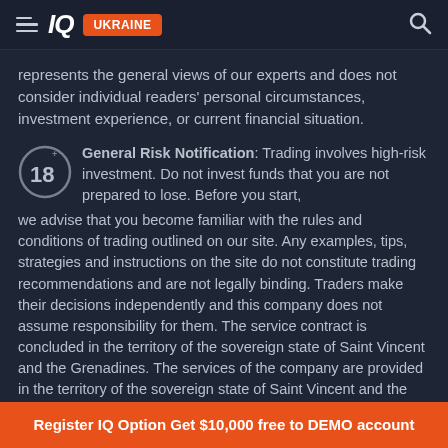IQ UKRAINE
represents the general views of our experts and does not consider individual readers' personal circumstances, investment experience, or current financial situation.
General Risk Notification: Trading involves high-risk investment. Do not invest funds that you are not prepared to lose. Before you start, we advise that you become familiar with the rules and conditions of trading outlined on our site. Any examples, tips, strategies and instructions on the site do not constitute trading recommendations and are not legally binding. Traders make their decisions independently and this company does not assume responsibility for them. The service contract is concluded in the territory of the sovereign state of Saint Vincent and the Grenadines. The services of the company are provided in the territory of the sovereign state of Saint Vincent and the Grenadines.
Register IQ Option Get $10,000 free to DEMO account